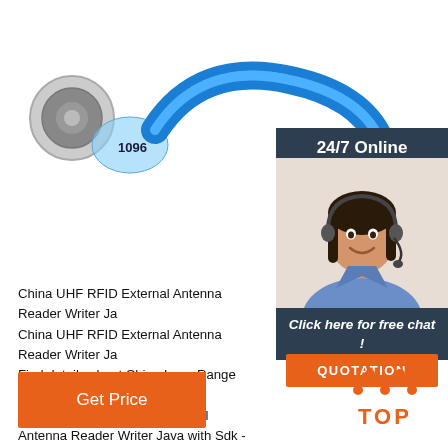[Figure (photo): Close-up photo of a blue RFID wristband/bracelet with the number 1096 printed on it, showing a coiled blue plastic band against a white background]
24/7 Online
[Figure (photo): Customer service representative, a woman with dark hair wearing a headset, smiling]
Click here for free chat !
QUOTATION
China UHF RFID External Antenna Reader Writer Ja China UHF RFID External Antenna Reader Writer Ja Find details about China Long Range RFID Reader, Reader from UHF RFID External Antenna Reader Writer Java with Sdk - Shenzhen Tesike Electronic Co., Ltd.
Get Price
[Figure (logo): TOP icon with orange dots arranged in a triangle above the word TOP in orange letters]